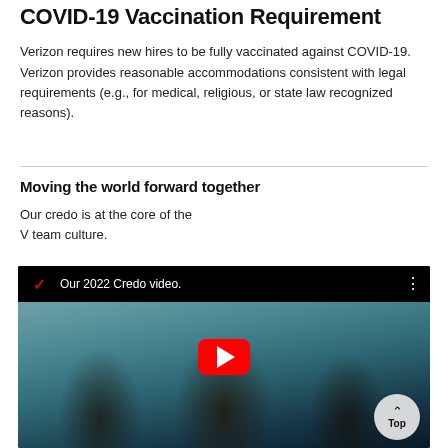COVID-19 Vaccination Requirement
Verizon requires new hires to be fully vaccinated against COVID-19. Verizon provides reasonable accommodations consistent with legal requirements (e.g., for medical, religious, or state law recognized reasons).
Moving the world forward together
Our credo is at the core of the V team culture.
[Figure (screenshot): Embedded YouTube video thumbnail showing 'Our 2022 Credo video.' with Verizon logo in top-left, three smiling people (a girl with a flower crown, a bald man, and a boy), and a red YouTube play button in the center. A 'Top' navigation button appears in the bottom-right corner.]